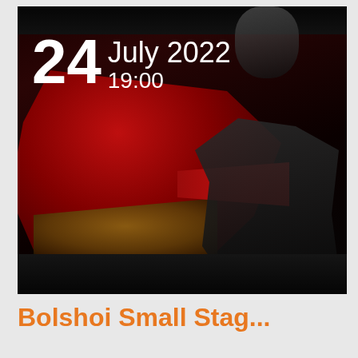[Figure (photo): Opera performance scene showing two performers: one in an elaborate red and gold gown/cloak with a mask, and another kneeling in black leather. Date overlay text '24 July 2022 19:00' appears in white in the upper left of the photo.]
Bolshoi Small Stag...